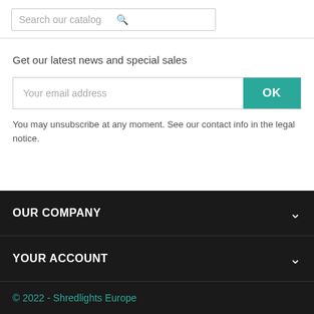[Figure (screenshot): Search bar with placeholder text 'Search our catalog' and a search icon]
Get our latest news and special sales
[Figure (screenshot): Email input field with placeholder 'Your email address' and a teal OK button]
You may unsubscribe at any moment. See our contact info in the legal notice.
OUR COMPANY
YOUR ACCOUNT
© 2022 - Shredlights Europe